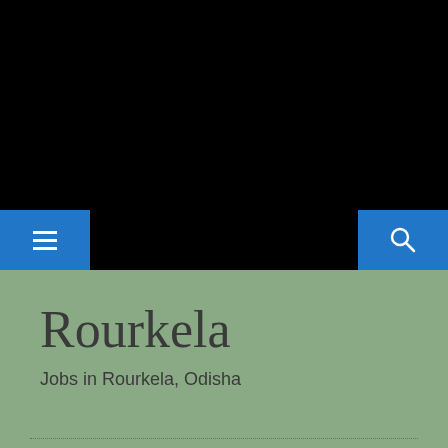[Figure (screenshot): Black banner header area at the top of a webpage]
[Figure (screenshot): Navigation bar with blue hamburger menu button on the left and blue search button on the right, black center]
Rourkela
Jobs in Rourkela, Odisha